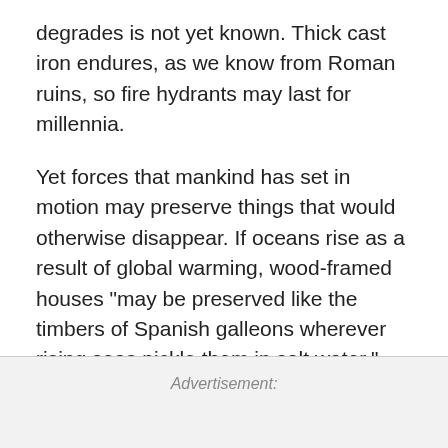degrades is not yet known. Thick cast iron endures, as we know from Roman ruins, so fire hydrants may last for millennia.
Yet forces that mankind has set in motion may preserve things that would otherwise disappear. If oceans rise as a result of global warming, wood-framed houses "may be preserved like the timbers of Spanish galleons wherever rising seas pickle them in salt water."
Advertisement: